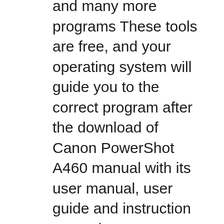and many more programs These tools are free, and your operating system will guide you to the correct program after the download of Canon PowerShot A460 manual with its user manual, user guide and instruction manual. Canon PowerShot A460 manual available online, you can read Canon PowerShot A460 camera manual PDF as your the manual will download automatically
Powershot A460 The Powershot A460 is a 5 MP entry-level camera released in January of 2007 Reviews and Specifications Canon Steve's DigiCams Imaging Resource WikipediA Technical Data Digic II image procesor VxWorks operating system Sensor: 5MP, 1/3"